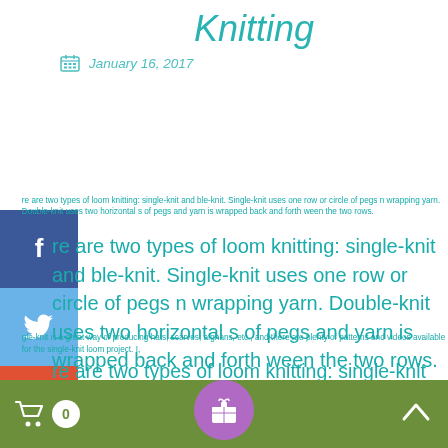Knitting (stylized script logo)
January 16, 2017
[Figure (other): Social media sharing sidebar with buttons for Facebook, Twitter, Google+, Pinterest, and Email]
re are two types of loom knitting: single-knit and ble-knit. Single-knit uses one row or circle of pegs n wrapping yarn. Double-knit uses two horizontal s of pegs and yarn is wrapped back and forth ween the two rows.
gle-knit is a great way of producing hats, scarves, afghans, etc., and there are plenty of patterns and videos available for the single-knit loom project. I,
Cart 0  [gift icon]  [back to top]